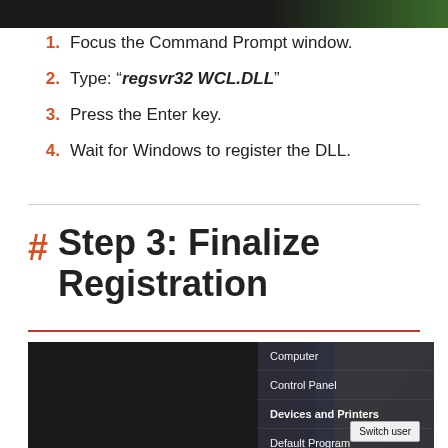[Figure (screenshot): Top cropped screenshot showing dark background with green element on right]
Focus the Command Prompt window.
Type: “regsvr32 WCL.DLL”
Press the Enter key.
Wait for Windows to register the DLL.
Step 3: Finalize Registration
[Figure (screenshot): Windows 7 Start Menu showing Computer, Control Panel, Devices and Printers, Default Program options, with Switch user popup, yellow Windows logo visible]